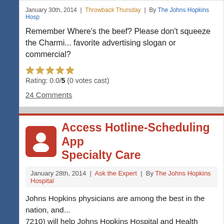January 30th, 2014 | Throwback Thursday | By The Johns Hopkins Hosp...
Remember Where's the beef? Please don't squeeze the Charm... favorite advertising slogan or commercial?
Rating: 0.0/5 (0 votes cast)
24 Comments
Access Hotline-Scheduling App... Specialty Care
January 28th, 2014 | Ask the Expert | By The Johns Hopkins Hospital
Johns Hopkins physicians are among the best in the nation, ano... 7210) will help Johns Hopkins Hospital and Health System Corp... appointments for specialty care. Hope Marsh, senior director of H...